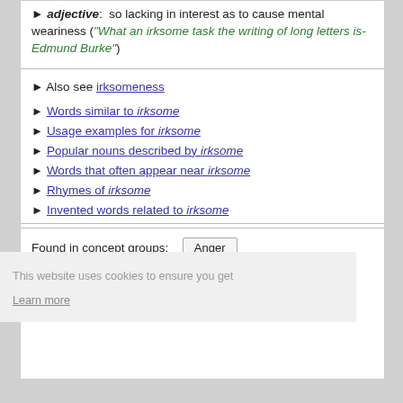► adjective: so lacking in interest as to cause mental weariness ("What an irksome task the writing of long letters is- Edmund Burke")
► Also see irksomeness
► Words similar to irksome
► Usage examples for irksome
► Popular nouns described by irksome
► Words that often appear near irksome
► Rhymes of irksome
► Invented words related to irksome
Found in concept groups: Anger